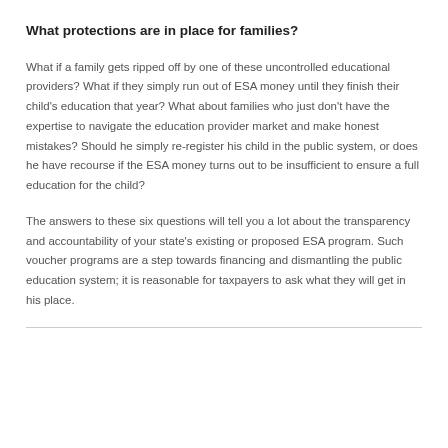What protections are in place for families?
What if a family gets ripped off by one of these uncontrolled educational providers? What if they simply run out of ESA money until they finish their child's education that year? What about families who just don't have the expertise to navigate the education provider market and make honest mistakes? Should he simply re-register his child in the public system, or does he have recourse if the ESA money turns out to be insufficient to ensure a full education for the child?
The answers to these six questions will tell you a lot about the transparency and accountability of your state's existing or proposed ESA program. Such voucher programs are a step towards financing and dismantling the public education system; it is reasonable for taxpayers to ask what they will get in his place.